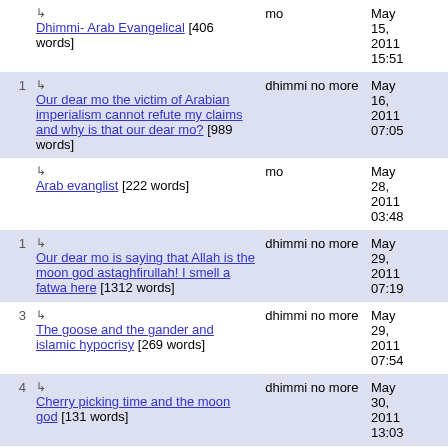| # | Title | Author | Date |
| --- | --- | --- | --- |
|  | ↳ Dhimmi- Arab Evangelical [406 words] | mo | May 15, 2011 15:51 |
| 1 | ↳ Our dear mo the victim of Arabian imperialism cannot refute my claims and why is that our dear mo? [989 words] | dhimmi no more | May 16, 2011 07:05 |
|  | ↳ Arab evanglist [222 words] | mo | May 28, 2011 03:48 |
| 1 | ↳ Our dear mo is saying that Allah is the moon god astaghfirullah! I smell a fatwa here [1312 words] | dhimmi no more | May 29, 2011 07:19 |
| 3 | ↳ The goose and the gander and islamic hypocrisy [269 words] | dhimmi no more | May 29, 2011 07:54 |
| 4 | ↳ Cherry picking time and the moon god [131 words] | dhimmi no more | May 30, 2011 13:03 |
| 2 | ↳ more cherry picking and al- | dhimmi no more | May 30, |